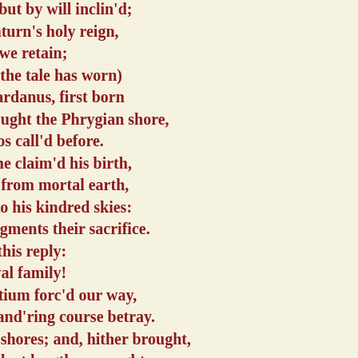Not forc'd to goodness, but by will inclin'd;
For, since the time of Saturn's holy reign,
His hospitable customs we retain;
I call to mind (but time the tale has worn)
Th' Arunci told, that Dardanus, first born
On Latian plains, yet sought the Phrygian shore,
And Samothracia, Samos call'd before.
From Tuscan Coritum he claim'd his birth,
But after, when exempt from mortal earth,
From thence ascended to his kindred skies:
A god, and, as a god, augments their sacrifice.
He said. Ilioneus made this reply:
"O king, of Faunus' royal family!
Nor wintry winds to Latium forc'd our way,
Nor did the stars our wand'ring course betray.
Willing we sought your shores; and, hither brought,
The port, so long desir'd, at length we sought.
From our sweet homes and ancient realms expell'd;
Great as the greatest that the sun beheld.
The god began our line, who rules above,
And, as our race, our king descends from Jove;
And hither are we come, by his command,
To crave admission in your happy land:
How dire a tempest, from Mycenae pour'd,